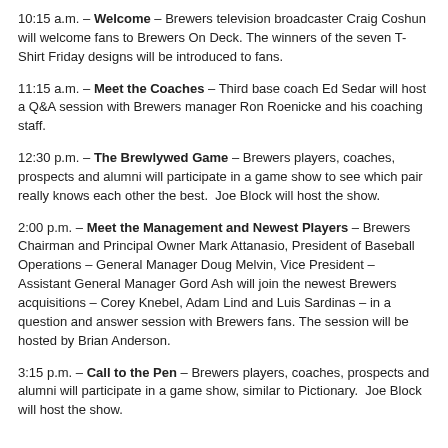10:15 a.m. – Welcome – Brewers television broadcaster Craig Coshun will welcome fans to Brewers On Deck. The winners of the seven T-Shirt Friday designs will be introduced to fans.
11:15 a.m. – Meet the Coaches – Third base coach Ed Sedar will host a Q&A session with Brewers manager Ron Roenicke and his coaching staff.
12:30 p.m. – The Brewlywed Game – Brewers players, coaches, prospects and alumni will participate in a game show to see which pair really knows each other the best.  Joe Block will host the show.
2:00 p.m. – Meet the Management and Newest Players – Brewers Chairman and Principal Owner Mark Attanasio, President of Baseball Operations – General Manager Doug Melvin, Vice President – Assistant General Manager Gord Ash will join the newest Brewers acquisitions – Corey Knebel, Adam Lind and Luis Sardinas – in a question and answer session with Brewers fans. The session will be hosted by Brian Anderson.
3:15 p.m. – Call to the Pen – Brewers players, coaches, prospects and alumni will participate in a game show, similar to Pictionary.  Joe Block will host the show.